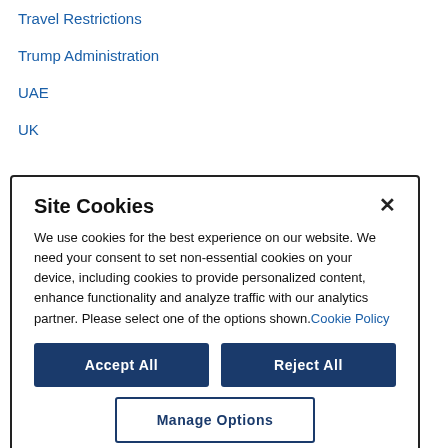Travel Restrictions
Trump Administration
UAE
UK
Site Cookies

We use cookies for the best experience on our website. We need your consent to set non-essential cookies on your device, including cookies to provide personalized content, enhance functionality and analyze traffic with our analytics partner. Please select one of the options shown. Cookie Policy

[Accept All] [Reject All]
[Manage Options]